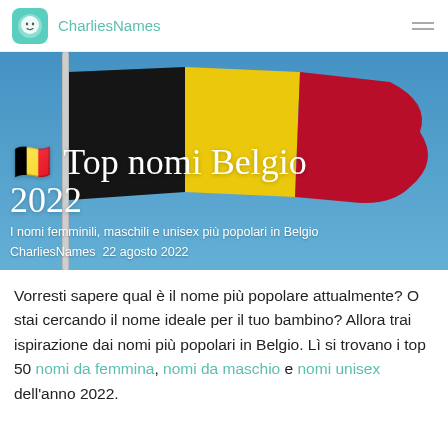CharliesNames
[Figure (photo): Belgian flag waving against a blue sky, with a metal flagpole on the left. The flag has vertical black, yellow, and red stripes.]
🇧🇪 Top nomi Belgio 2022
I nomi femminili, maschili e unisex più popolari in Belgio
CharliesNames 22 agosto 2022
Vorresti sapere qual è il nome più popolare attualmente? O stai cercando il nome ideale per il tuo bambino? Allora trai ispirazione dai nomi più popolari in Belgio. Lì si trovano i top 50 nomi da femmina, nomi da maschio e nomi unisex dell'anno 2022.